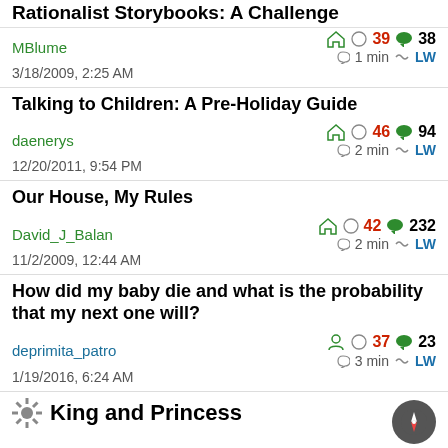Rationalist Storybooks: A Challenge
MBlume | 3/18/2009, 2:25 AM | 39 karma | 38 comments | 1 min | LW
Talking to Children: A Pre-Holiday Guide
daenerys | 12/20/2011, 9:54 PM | 46 karma | 94 comments | 2 min | LW
Our House, My Rules
David_J_Balan | 11/2/2009, 12:44 AM | 42 karma | 232 comments | 2 min | LW
How did my baby die and what is the probability that my next one will?
deprimita_patro | 1/19/2016, 6:24 AM | 37 karma | 23 comments | 3 min | LW
King and Princess